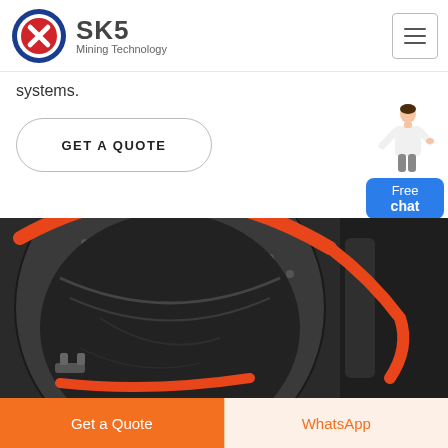[Figure (logo): SKS Mining Technology logo with red and blue circular emblem and text]
systems.
GET A QUOTE
[Figure (photo): Close-up of heavy mining machinery, black metal with orange/red stripe details]
Get a Quote
WhatsApp